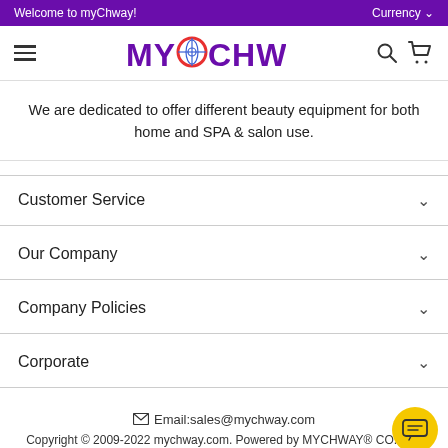Welcome to myChway!  Currency
[Figure (logo): MYCHWAY logo with globe icon replacing the O, in purple and red]
We are dedicated to offer different beauty equipment for both home and SPA & salon use.
Customer Service
Our Company
Company Policies
Corporate
Email:sales@mychway.com  Copyright © 2009-2022 mychway.com. Powered by MYCHWAY® CO.,Ltd